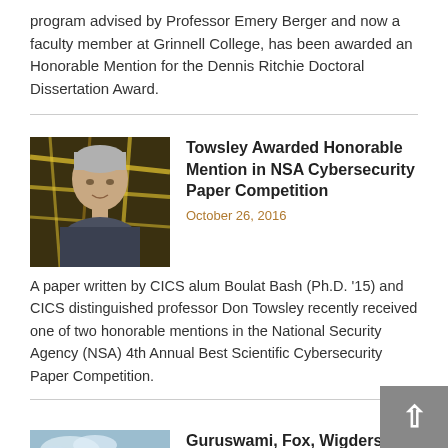program advised by Professor Emery Berger and now a faculty member at Grinnell College, has been awarded an Honorable Mention for the Dennis Ritchie Doctoral Dissertation Award.
Towsley Awarded Honorable Mention in NSA Cybersecurity Paper Competition
October 26, 2016
[Figure (photo): Portrait of a man with short gray hair in front of network cabling]
A paper written by CICS alum Boulat Bash (Ph.D. ’15) and CICS distinguished professor Don Towsley recently received one of two honorable mentions in the National Security Agency (NSA) 4th Annual Best Scientific Cybersecurity Paper Competition.
Guruswami, Fox, Wigderson, Jackson, and Calderbank to Speak in CICS Distinguished
[Figure (photo): Photo of a modern building exterior with trees and sky]